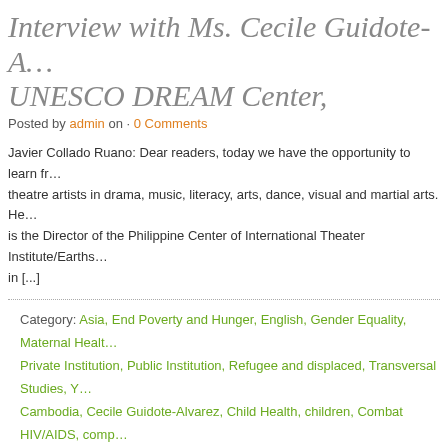Interview with Ms. Cecile Guidote-A... UNESCO DREAM Center, Philippine...
Posted by admin on · 0 Comments
Javier Collado Ruano: Dear readers, today we have the opportunity to learn fr... theatre artists in drama, music, literacy, arts, dance, visual and martial arts. He... is the Director of the Philippine Center of International Theater Institute/Earths... in [...]
Category: Asia, End Poverty and Hunger, English, Gender Equality, Maternal Health... Private Institution, Public Institution, Refugee and displaced, Transversal Studies, Y... Cambodia, Cecile Guidote-Alvarez, Child Health, children, Combat HIV/AIDS, comp... Sustainability, future, global citizenship education, global citizenship education, Glo... ITI, Javier Collado Ruano, love, MDGs, Millennium Development Goals, natural dis... International Theatre Institute, poverty, Rainbow Cross, Save the Children, Super T... roadmap to healing trauma and building climate solutions, Theatre, UNESCO, UNE... Vietnam
Warning: Undefined array key "custom_meta_video" in /home/elarteno/public_html/globaleducationmagazine.com/wp-content/...